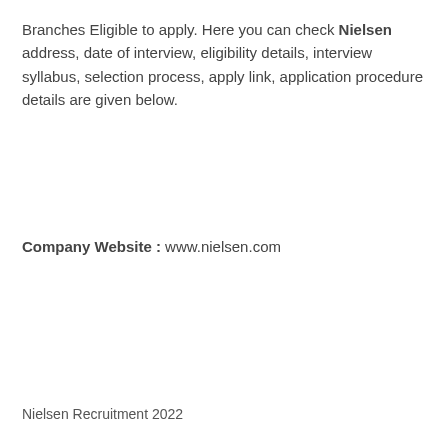Branches Eligible to apply. Here you can check Nielsen address, date of interview, eligibility details, interview syllabus, selection process, apply link, application procedure details are given below.
Company Website : www.nielsen.com
Nielsen Recruitment 2022